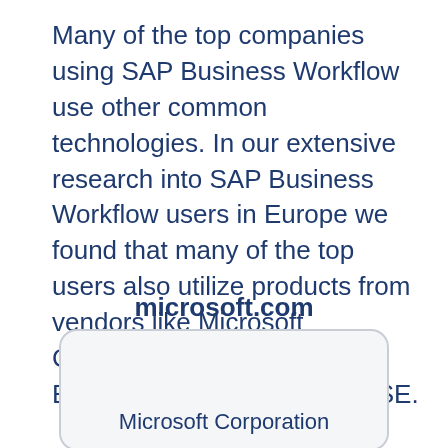Many of the top companies using SAP Business Workflow use other common technologies. In our extensive research into SAP Business Workflow users in Europe we found that many of the top users also utilize products from vendors like Microsoft Corporation, 1C Company, Educate 360, LLC and SAP SE.
microsoft.com
Microsoft Corporation